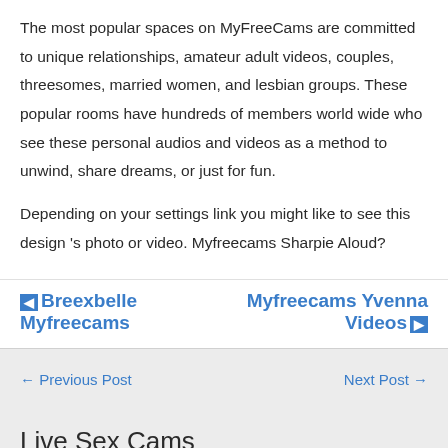The most popular spaces on MyFreeCams are committed to unique relationships, amateur adult videos, couples, threesomes, married women, and lesbian groups. These popular rooms have hundreds of members world wide who see these personal audios and videos as a method to unwind, share dreams, or just for fun.
Depending on your settings link you might like to see this design ’s photo or video. Myfreecams Sharpie Aloud?
◄ Breexbelle Myfreecams
Myfreecams Yvenna Videos ►
← Previous Post
Next Post →
Live Sex Cams